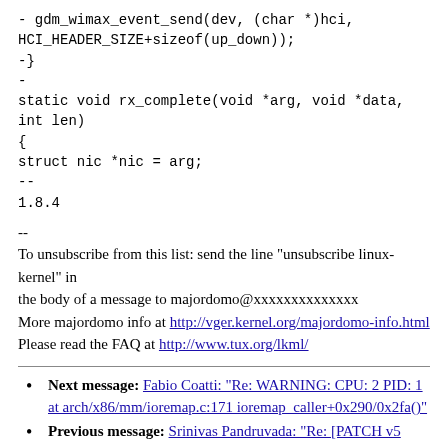- gdm_wimax_event_send(dev, (char *)hci, HCI_HEADER_SIZE+sizeof(up_down));
-}
-
static void rx_complete(void *arg, void *data, int len)
{
struct nic *nic = arg;
--
1.8.4
--
To unsubscribe from this list: send the line "unsubscribe linux-kernel" in
the body of a message to majordomo@xxxxxxxxxxxxxx
More majordomo info at http://vger.kernel.org/majordomo-info.html
Please read the FAQ at http://www.tux.org/lkml/
Next message: Fabio Coatti: "Re: WARNING: CPU: 2 PID: 1 at arch/x86/mm/ioremap.c:171 ioremap_caller+0x290/0x2fa()"
Previous message: Srinivas Pandruvada: "Re: [PATCH v5